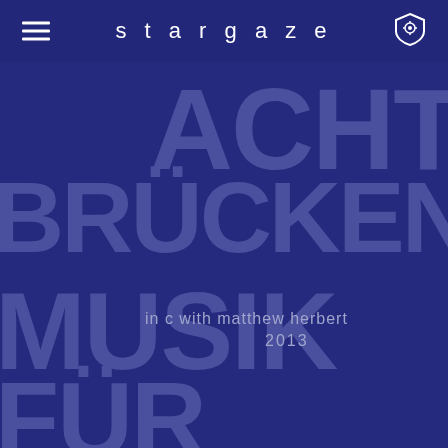stargaze
[Figure (illustration): Large stylized text poster with dark navy blue background showing 'ACHT. BRÜCKEN. MUSIK FÜR KÖLN' in large bold purple/navy letters, with subtitle 'in c with matthew herbert 2013']
in c with matthew herbert
2013